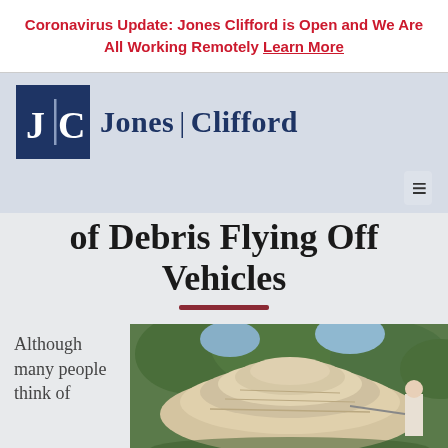Coronavirus Update: Jones Clifford is Open and We Are All Working Remotely Learn More
[Figure (logo): Jones Clifford law firm logo: dark navy square with JC monogram and vertical divider, followed by 'Jones | Clifford' wordmark in navy serif font]
of Debris Flying Off Vehicles
Although many people think of